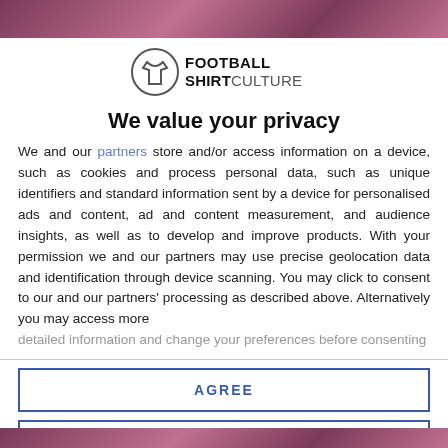[Figure (photo): Top banner image showing football shirts in pink/purple tones]
[Figure (logo): Football Shirt Culture logo with shirt icon in circle]
We value your privacy
We and our partners store and/or access information on a device, such as cookies and process personal data, such as unique identifiers and standard information sent by a device for personalised ads and content, ad and content measurement, and audience insights, as well as to develop and improve products. With your permission we and our partners may use precise geolocation data and identification through device scanning. You may click to consent to our and our partners' processing as described above. Alternatively you may access more detailed information and change your preferences before consenting
AGREE
MORE OPTIONS
Page 2 of 65
[Figure (photo): Bottom banner image showing football shirts in pink/purple tones]